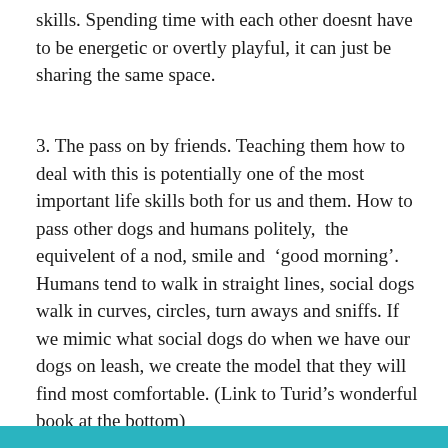skills. Spending time with each other doesnt have to be energetic or overtly playful, it can just be sharing the same space.
3. The pass on by friends. Teaching them how to deal with this is potentially one of the most important life skills both for us and them. How to pass other dogs and humans politely,  the equivelent of a nod, smile and  ‘good morning’. Humans tend to walk in straight lines, social dogs walk in curves, circles, turn aways and sniffs. If we mimic what social dogs do when we have our dogs on leash, we create the model that they will find most comfortable. (Link to Turid’s wonderful book at the bottom)